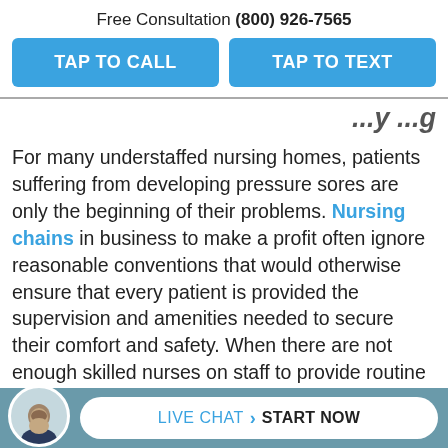Free Consultation (800) 926-7565
TAP TO CALL
TAP TO TEXT
...y ...g
For many understaffed nursing homes, patients suffering from developing pressure sores are only the beginning of their problems. Nursing chains in business to make a profit often ignore reasonable conventions that would otherwise ensure that every patient is provided the supervision and amenities needed to secure their comfort and safety. When there are not enough skilled nurses on staff to provide routine supervision and care to every...on
LIVE CHAT  START NOW